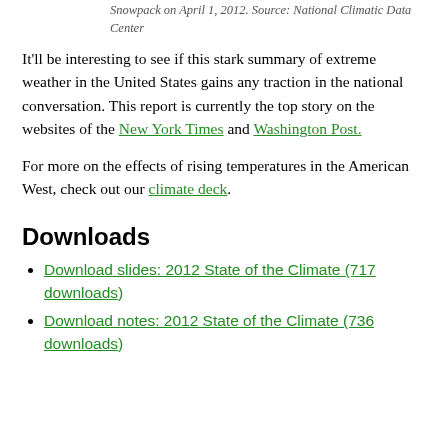Snowpack on April 1, 2012. Source: National Climatic Data Center
It'll be interesting to see if this stark summary of extreme weather in the United States gains any traction in the national conversation. This report is currently the top story on the websites of the New York Times and Washington Post.
For more on the effects of rising temperatures in the American West, check out our climate deck.
Downloads
Download slides: 2012 State of the Climate (717 downloads)
Download notes: 2012 State of the Climate (736 downloads)